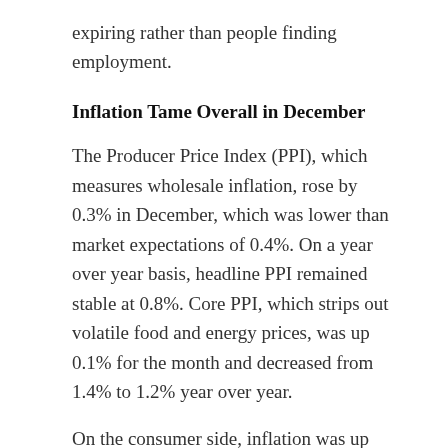expiring rather than people finding employment.
Inflation Tame Overall in December
The Producer Price Index (PPI), which measures wholesale inflation, rose by 0.3% in December, which was lower than market expectations of 0.4%. On a year over year basis, headline PPI remained stable at 0.8%. Core PPI, which strips out volatile food and energy prices, was up 0.1% for the month and decreased from 1.4% to 1.2% year over year.
On the consumer side, inflation was up 0.4% from November to December per the Consumer Price Index report. The year over year reading increased from 1.2% to 1.4%. About 60% of the rise was due to gasoline prices.